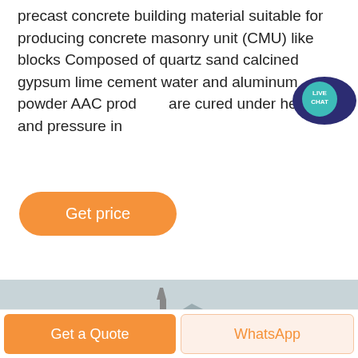precast concrete building material suitable for producing concrete masonry unit (CMU) like blocks Composed of quartz sand calcined gypsum lime cement water and aluminum powder AAC products are cured under heat and pressure in
[Figure (illustration): Live Chat bubble badge icon with dark blue speech bubble and teal circle with 'LIVE CHAT' text]
Get price
[Figure (photo): Industrial quarry or mining facility with conveyor belts, steel structures/towers, stockpiles of aggregate material in the foreground, and mountains in the background under an overcast sky.]
Get a Quote
WhatsApp